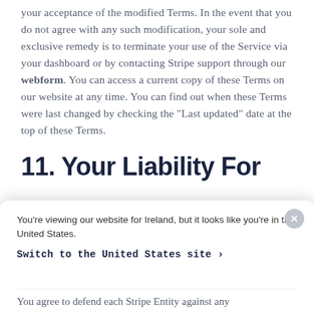your acceptance of the modified Terms. In the event that you do not agree with any such modification, your sole and exclusive remedy is to terminate your use of the Service via your dashboard or by contacting Stripe support through our webform. You can access a current copy of these Terms on our website at any time. You can find out when these Terms were last changed by checking the “Last updated” date at the top of these Terms.
11. Your Liability For
You’re viewing our website for Ireland, but it looks like you’re in the United States.
Switch to the United States site >
You agree to defend each Stripe Entity against any